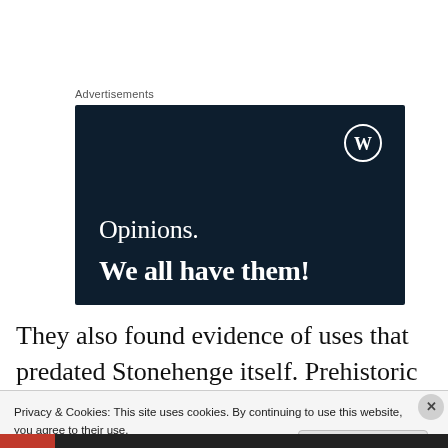Advertisements
[Figure (illustration): WordPress advertisement banner with dark navy background. Shows WordPress logo (W in circle) top right. Text reads 'Opinions.' in serif normal weight and 'We all have them!' in serif bold weight, both in white.]
They also found evidence of uses that predated Stonehenge itself. Prehistoric pits, burial mounds and a
Privacy & Cookies: This site uses cookies. By continuing to use this website, you agree to their use.
To find out more, including how to control cookies, see here: Cookie Policy
Close and accept